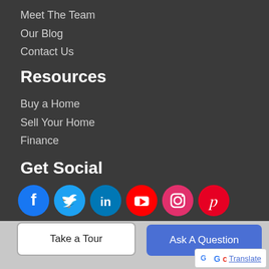Meet The Team
Our Blog
Contact Us
Resources
Buy a Home
Sell Your Home
Finance
Get Social
[Figure (illustration): Social media icons: Facebook, Twitter, LinkedIn, YouTube, Instagram, Pinterest]
About Us
The Rose Harris Group is Miami and Miami Beach's most innovative real estate team.
Take a Tour
Ask A Question
Translate